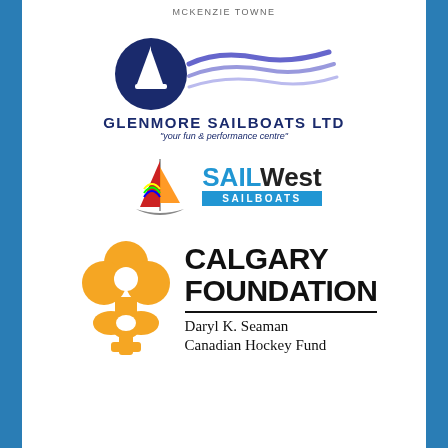MCKENZIE TOWNE
[Figure (logo): Glenmore Sailboats Ltd logo with sailboat icon and wave design, text: GLENMORE SAILBOATS LTD, tagline: your fun & performance centre]
[Figure (logo): SAILWest Sailboats logo with colorful sailboat graphic and blue rectangle containing SAILBOATS text]
[Figure (logo): Calgary Foundation logo with orange clover/flower symbol, large black text CALGARY FOUNDATION, and subtitle Daryl K. Seaman Canadian Hockey Fund]